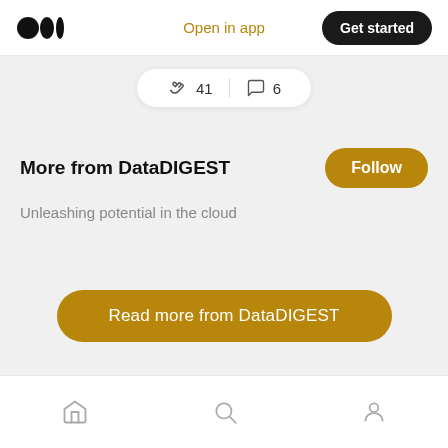Medium logo | Open in app | Get started
[Figure (screenshot): Claps and comments interaction bar showing 41 claps and 6 comments]
More from DataDIGEST
Unleashing potential in the cloud
Read more from DataDIGEST
Bottom navigation: Home, Search, Profile